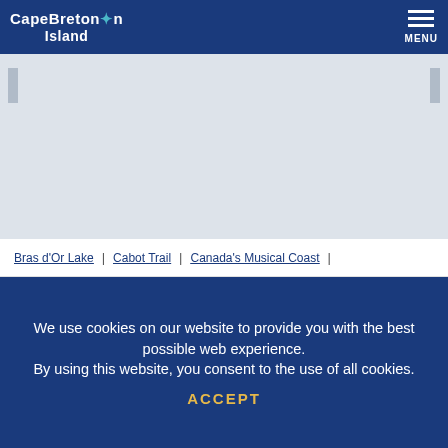Cape Breton Island  MENU
[Figure (other): Slideshow image area with left and right navigation arrows on a light gray background]
Bras d'Or Lake  |  Cabot Trail  |  Canada's Musical Coast  |
We use cookies on our website to provide you with the best possible web experience. By using this website, you consent to the use of all cookies.
ACCEPT